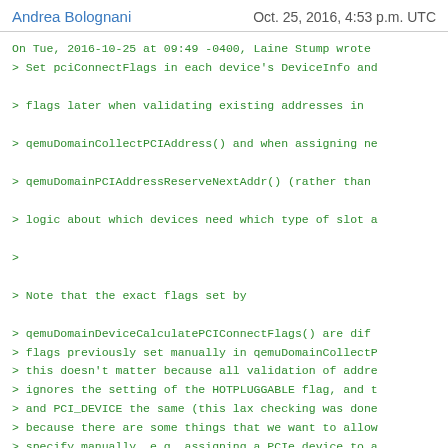Andrea Bolognani   Oct. 25, 2016, 4:53 p.m. UTC
On Tue, 2016-10-25 at 09:49 -0400, Laine Stump wrote
> Set pciConnectFlags in each device's DeviceInfo and

> flags later when validating existing addresses in

> qemuDomainCollectPCIAddress() and when assigning ne

> qemuDomainPCIAddressReserveNextAddr() (rather than

> logic about which devices need which type of slot a

>

> Note that the exact flags set by

> qemuDomainDeviceCalculatePCIConnectFlags() are dif

> flags previously set manually in qemuDomainCollectP

> this doesn't matter because all validation of addre

> ignores the setting of the HOTPLUGGABLE flag, and t

> and PCI_DEVICE the same (this lax checking was done

> because there are some things that we want to allow

> specify manually, e.g. assigning a PCIe device to a